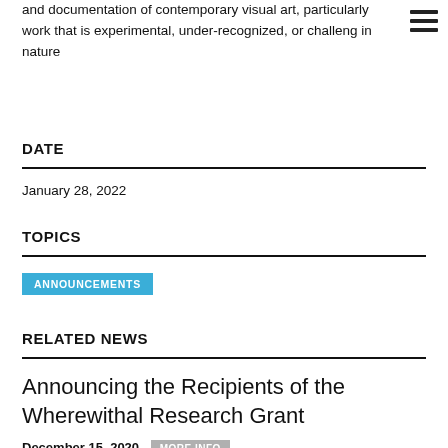and documentation of contemporary visual art, particularly work that is experimental, under-recognized, or challeng in nature
DATE
January 28, 2022
TOPICS
ANNOUNCEMENTS
RELATED NEWS
Announcing the Recipients of the Wherewithal Research Grant
December 15, 2020  MORE INFO